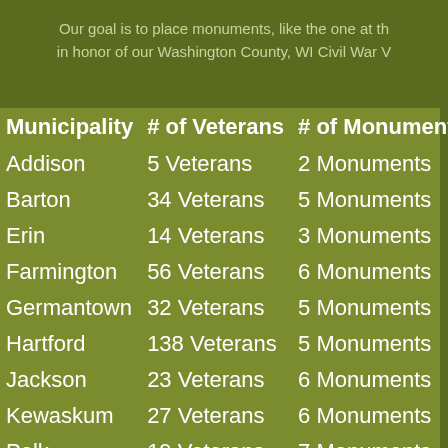Our goal is to place monuments, like the one at th... in honor of our Washington County, WI Civil War V...
| Municipality | # of Veterans | # of Monuments |
| --- | --- | --- |
| Addison | 5 Veterans | 2 Monuments |
| Barton | 34 Veterans | 5 Monuments |
| Erin | 14 Veterans | 3 Monuments |
| Farmington | 56 Veterans | 6 Monuments |
| Germantown | 32 Veterans | 5 Monuments |
| Hartford | 138 Veterans | 5 Monuments |
| Jackson | 23 Veterans | 6 Monuments |
| Kewaskum | 27 Veterans | 6 Monuments |
| Polk | 19 Veterans | 7 Monuments |
| Richfield | 26 Veterans | 8 Monuments |
| Trenton | 25 Veterans | 5 Monuments |
| West Bend | 105 Veterans | 6 Monuments |
| Wayne | 12 Veterans | 5 Monuments |